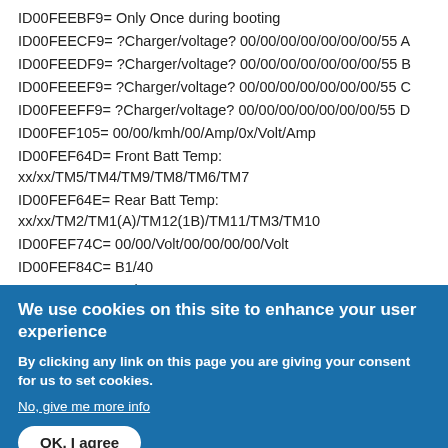ID00FEEBF9= Only Once during booting
ID00FEECF9= ?Charger/voltage? 00/00/00/00/00/00/00/55 A
ID00FEEDF9= ?Charger/voltage? 00/00/00/00/00/00/00/55 B
ID00FEEEF9= ?Charger/voltage? 00/00/00/00/00/00/00/55 C
ID00FEEFF9= ?Charger/voltage? 00/00/00/00/00/00/00/55 D
ID00FEF105= 00/00/kmh/00/Amp/0x/Volt/Amp
ID00FEF64D= Front Batt Temp: xx/xx/TM5/TM4/TM9/TM8/TM6/TM7
ID00FEF64E= Rear Batt Temp: xx/xx/TM2/TM1(A)/TM12(1B)/TM11/TM3/TM10
ID00FEF74C= 00/00/Volt/00/00/00/00/Volt
ID00FEF84C= B1/40
ID00FEF94C= B1/40 xx xx xx xx xx xx xx xx
ID00FEFA4C= B1/40 6x00; byte5=04, byte8=Bx
ID00FEFC4C= B1/4 FE 00 40 46 xx xx FA/B/C 4A
ID00FEFD4C= B1/4 6x00; Byte1=88, BYTE8=1x
We use cookies on this site to enhance your user experience
By clicking any link on this page you are giving your consent for us to set cookies.
No, give me more info
OK, I agree